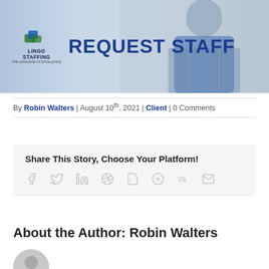[Figure (photo): Banner image showing a man in a blue polo shirt and striped apron with arms crossed, with Lingo Staffing logo and REQUEST STAFF text overlay]
By Robin Walters | August 10th, 2021 | Client | 0 Comments
Share This Story, Choose Your Platform!
[Figure (infographic): Social media share icons: Facebook, Twitter, LinkedIn, Reddit, Tumblr, Pinterest, VK, Email]
About the Author: Robin Walters
[Figure (illustration): Grey circular default author avatar icon]